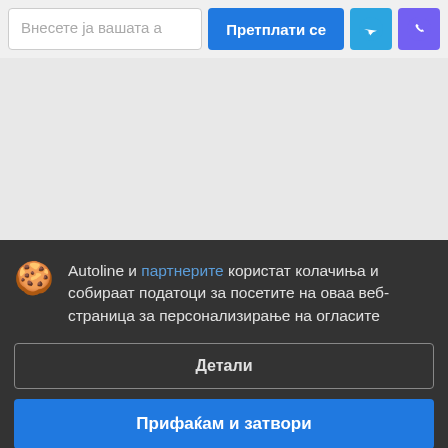Внесете ја вашата а
Претплати се
[Figure (other): Telegram icon button (blue)]
[Figure (other): Viber icon button (purple)]
Autoline и партнерите користат колачиња и собираат податоци за посетите на оваа веб-страница за персонализирање на огласите
Детали
Прифаќам и затвори